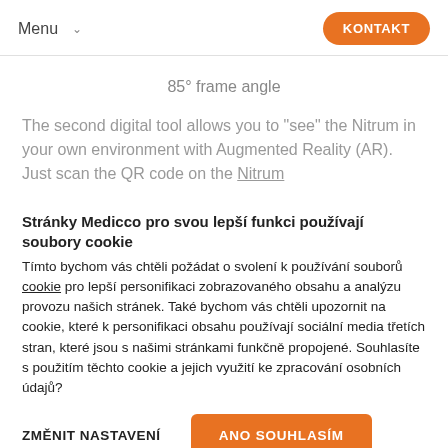Menu  KONTAKT
85° frame angle
The second digital tool allows you to "see" the Nitrum in your own environment with Augmented Reality (AR). Just scan the QR code on the Nitrum
Stránky Medicco pro svou lepší funkci používají soubory cookie
Tímto bychom vás chtěli požádat o svolení k používání souborů cookie pro lepší personifikaci zobrazovaného obsahu a analýzu provozu našich stránek. Také bychom vás chtěli upozornit na cookie, které k personifikaci obsahu používají sociální media třetích stran, které jsou s našimi stránkami funkčně propojené. Souhlasíte s použitím těchto cookie a jejich využití ke zpracování osobních údajů?
ZMĚNIT NASTAVENÍ   ANO SOUHLASÍM